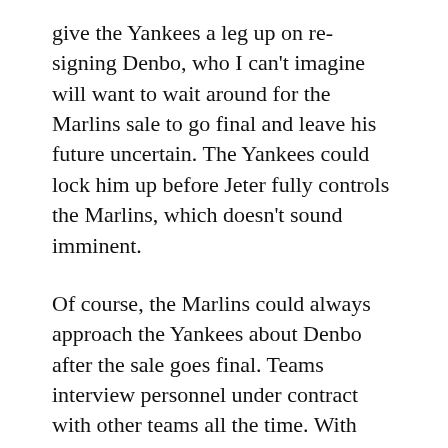give the Yankees a leg up on re-signing Denbo, who I can't imagine will want to wait around for the Marlins sale to go final and leave his future uncertain. The Yankees could lock him up before Jeter fully controls the Marlins, which doesn't sound imminent.
Of course, the Marlins could always approach the Yankees about Denbo after the sale goes final. Teams interview personnel under contract with other teams all the time. With permission, of course. The Yankees could deny that permission — they denied the Diamondbacks permission to interview scouting director Damon Oppenheimer back in 2010 — though most teams don't when it involves a big upward promotion. Denbo could always push for having permission to interview